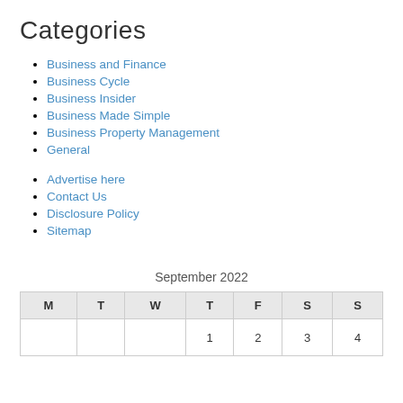Categories
Business and Finance
Business Cycle
Business Insider
Business Made Simple
Business Property Management
General
Advertise here
Contact Us
Disclosure Policy
Sitemap
September 2022
| M | T | W | T | F | S | S |
| --- | --- | --- | --- | --- | --- | --- |
|  |  |  | 1 | 2 | 3 | 4 |